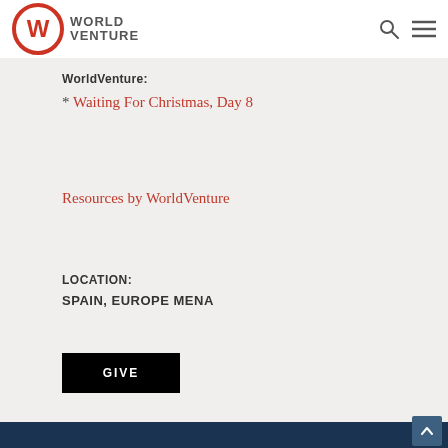[Figure (logo): WorldVenture logo with circular W icon and WORLD VENTURE text]
WorldVenture:
* Waiting For Christmas, Day 8
Resources by WorldVenture
LOCATION: SPAIN, EUROPE MENA
GIVE